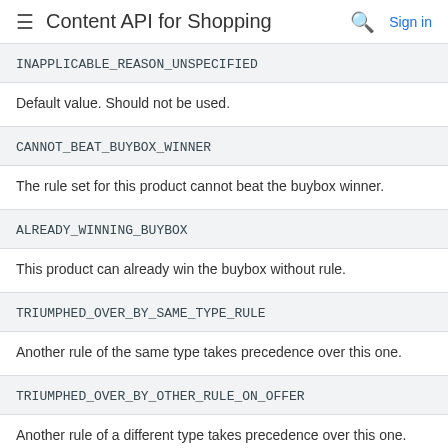Content API for Shopping
INAPPLICABLE_REASON_UNSPECIFIED
Default value. Should not be used.
CANNOT_BEAT_BUYBOX_WINNER
The rule set for this product cannot beat the buybox winner.
ALREADY_WINNING_BUYBOX
This product can already win the buybox without rule.
TRIUMPHED_OVER_BY_SAME_TYPE_RULE
Another rule of the same type takes precedence over this one.
TRIUMPHED_OVER_BY_OTHER_RULE_ON_OFFER
Another rule of a different type takes precedence over this one.
RESTRICTIONS_NOT_MET
The rule restrictions are not met. For example, this may be the